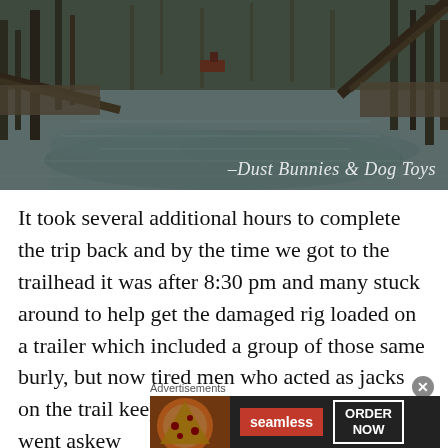[Figure (photo): A flooded forest trail or waterway with a motorboat in the distance, surrounded by bare trees and murky water. Watermark reads 'Dust Bunnies & Dog Toys' in cursive script at the bottom right.]
It took several additional hours to complete the trip back and by the time we got to the trailhead it was after 8:30 pm and many stuck around to help get the damaged rig loaded on a trailer which included a group of those same burly, but now tired men who acted as jacks on the trail keeping it from rolling off when it went askew
Advertisements
[Figure (screenshot): Seamless food delivery advertisement banner showing pizza image on left, red Seamless logo button in center, and 'ORDER NOW' text in white bordered box on dark background.]